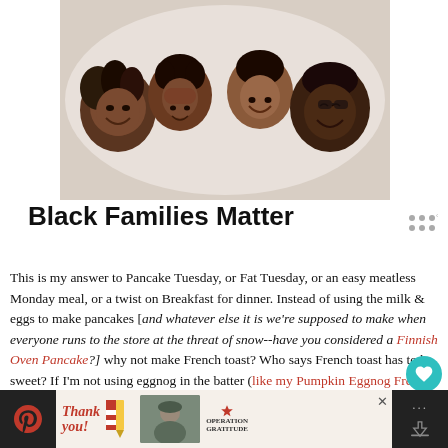[Figure (photo): Four Black family members (two adults, two children) lying on a bed looking up at the camera, smiling, viewed from above]
Black Families Matter
This is my answer to Pancake Tuesday, or Fat Tuesday, or an easy meatless Monday meal, or a twist on Breakfast for dinner. Instead of using the milk & eggs to make pancakes [and whatever else it is we're supposed to make when everyone runs to the store at the threat of snow--have you considered a Finnish Oven Pancake?] why not make French toast? Who says French toast has to be sweet? If I'm not using eggnog in the batter (like my Pumpkin Eggnog French Toast recipe) then the components are just as savory as a fried egg sandwich.
[Figure (photo): Advertisement banner: Operation Gratitude thank you campaign with soldier photo]